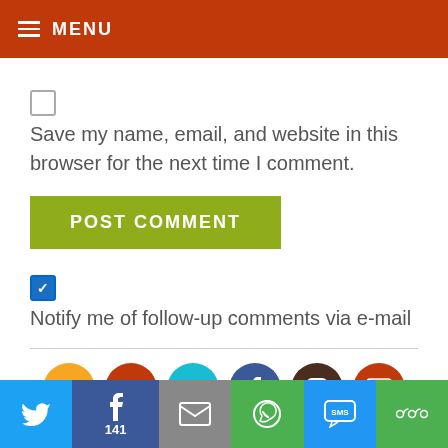MENU
Save my name, email, and website in this browser for the next time I comment.
POST COMMENT
Notify me of follow-up comments via e-mail
[Figure (infographic): Social media circle icons: RSS (orange), Pinterest (red), Twitter (cyan), Facebook (blue), Instagram (dark brown), YouTube (red)]
[Figure (infographic): Social share bar with Twitter, Facebook (141), Email, WhatsApp, SMS, and More buttons]